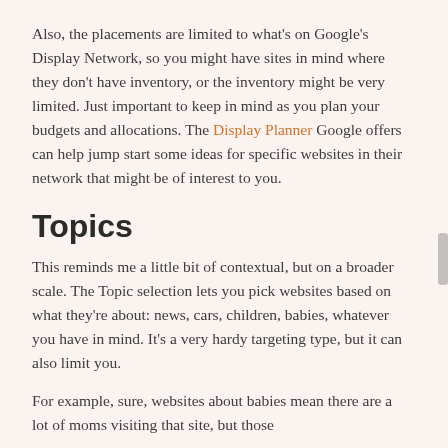Also, the placements are limited to what's on Google's Display Network, so you might have sites in mind where they don't have inventory, or the inventory might be very limited. Just important to keep in mind as you plan your budgets and allocations. The Display Planner Google offers can help jump start some ideas for specific websites in their network that might be of interest to you.
Topics
This reminds me a little bit of contextual, but on a broader scale. The Topic selection lets you pick websites based on what they're about: news, cars, children, babies, whatever you have in mind. It's a very hardy targeting type, but it can also limit you.
For example, sure, websites about babies mean there are a lot of moms visiting that site, but those